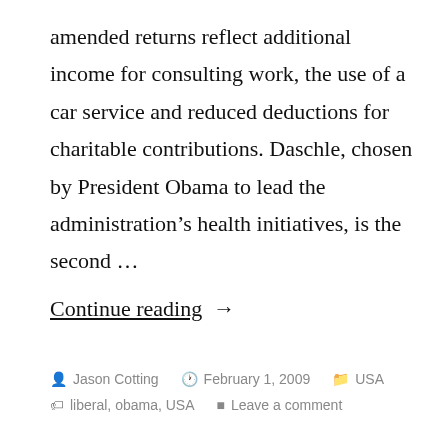amended returns reflect additional income for consulting work, the use of a car service and reduced deductions for charitable contributions. Daschle, chosen by President Obama to lead the administration's health initiatives, is the second …
Continue reading →
Jason Cotting   February 1, 2009   USA   liberal, obama, USA   Leave a comment